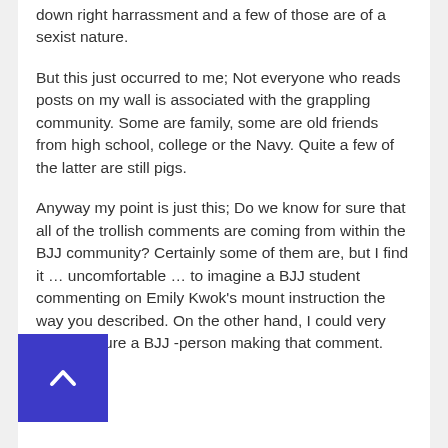down right harrassment and a few of those are of a sexist nature.
But this just occurred to me; Not everyone who reads posts on my wall is associated with the grappling community. Some are family, some are old friends from high school, college or the Navy. Quite a few of the latter are still pigs.
Anyway my point is just this; Do we know for sure that all of the trollish comments are coming from within the BJJ community? Certainly some of them are, but I find it … uncomfortable … to imagine a BJJ student commenting on Emily Kwok's mount instruction the way you described. On the other hand, I could very easily picture a BJJ -person making that comment.